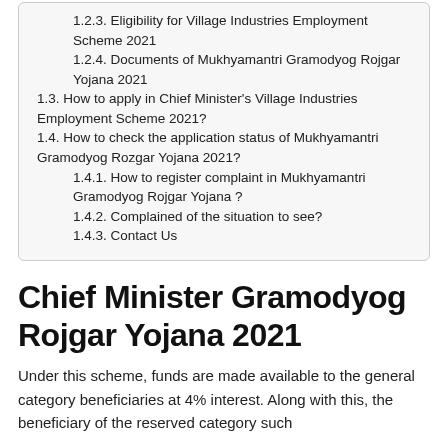1.2.3. Eligibility for Village Industries Employment Scheme 2021
1.2.4. Documents of Mukhyamantri Gramodyog Rojgar Yojana 2021
1.3. How to apply in Chief Minister's Village Industries Employment Scheme 2021?
1.4. How to check the application status of Mukhyamantri Gramodyog Rozgar Yojana 2021?
1.4.1. How to register complaint in Mukhyamantri Gramodyog Rojgar Yojana ?
1.4.2. Complained of the situation to see?
1.4.3. Contact Us
Chief Minister Gramodyog Rojgar Yojana 2021
Under this scheme, funds are made available to the general category beneficiaries at 4% interest. Along with this, the beneficiary of the reserved category such